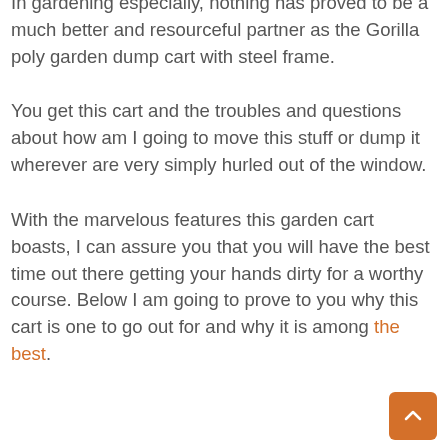In gardening especially, nothing has proved to be a much better and resourceful partner as the Gorilla poly garden dump cart with steel frame.
You get this cart and the troubles and questions about how am I going to move this stuff or dump it wherever are very simply hurled out of the window.
With the marvelous features this garden cart boasts, I can assure you that you will have the best time out there getting your hands dirty for a worthy course. Below I am going to prove to you why this cart is one to go out for and why it is among the best.